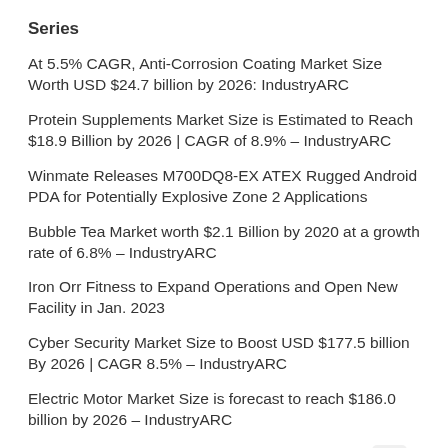Series
At 5.5% CAGR, Anti-Corrosion Coating Market Size Worth USD $24.7 billion by 2026: IndustryARC
Protein Supplements Market Size is Estimated to Reach $18.9 Billion by 2026 | CAGR of 8.9% – IndustryARC
Winmate Releases M700DQ8-EX ATEX Rugged Android PDA for Potentially Explosive Zone 2 Applications
Bubble Tea Market worth $2.1 Billion by 2020 at a growth rate of 6.8% – IndustryARC
Iron Orr Fitness to Expand Operations and Open New Facility in Jan. 2023
Cyber Security Market Size to Boost USD $177.5 billion By 2026 | CAGR 8.5% – IndustryARC
Electric Motor Market Size is forecast to reach $186.0 billion by 2026 – IndustryARC
I-BAT – The Think Tank receives “The Think Tank with High Social Impact-2022” Award
Amniotic Membrane Market size is estimated to reach